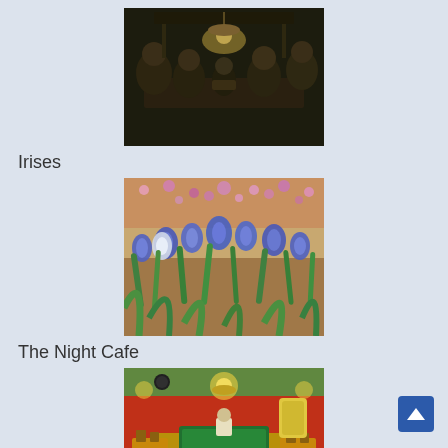[Figure (photo): Van Gogh painting: The Potato Eaters — dark scene of peasants eating around a lamp-lit table]
Irises
[Figure (photo): Van Gogh painting: Irises — colorful blue and purple irises in a garden]
The Night Cafe
[Figure (photo): Van Gogh painting: The Night Cafe — interior of a cafe with green ceiling, red walls, and a billiard table]